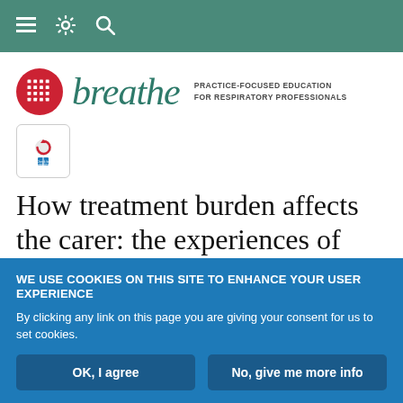Navigation bar with menu, settings, and search icons
[Figure (logo): Breathe journal logo: red circle with grid pattern, italic 'breathe' in teal, tagline 'PRACTICE-FOCUSED EDUCATION FOR RESPIRATORY PROFESSIONALS']
[Figure (other): Check for updates badge/button]
How treatment burden affects the carer: the experiences of three
WE USE COOKIES ON THIS SITE TO ENHANCE YOUR USER EXPERIENCE
By clicking any link on this page you are giving your consent for us to set cookies.
OK, I agree | No, give me more info